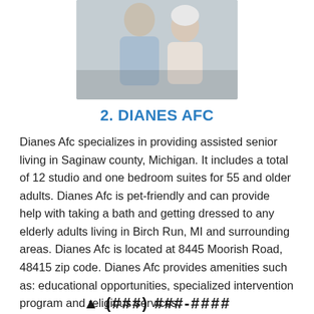[Figure (photo): A caregiver and an elderly woman smiling together indoors]
2. DIANES AFC
Dianes Afc specializes in providing assisted senior living in Saginaw county, Michigan. It includes a total of 12 studio and one bedroom suites for 55 and older adults. Dianes Afc is pet-friendly and can provide help with taking a bath and getting dressed to any elderly adults living in Birch Run, MI and surrounding areas. Dianes Afc is located at 8445 Moorish Road, 48415 zip code. Dianes Afc provides amenities such as: educational opportunities, specialized intervention program and religious services.
(###) ###-####